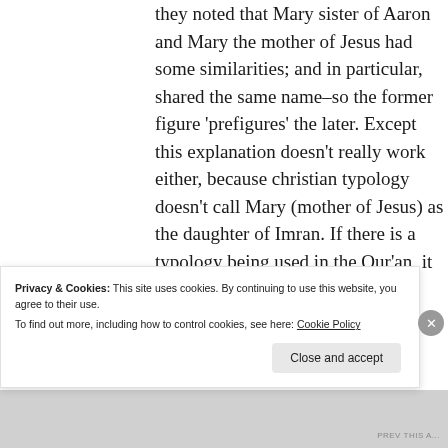they noted that Mary sister of Aaron and Mary the mother of Jesus had some similarities; and in particular, shared the same name–so the former figure 'prefigures' the later. Except this explanation doesn't really work either, because christian typology doesn't call Mary (mother of Jesus) as the daughter of Imran. If there is a typology being used in the Qur'an, it goes a lot further than anything we see in a christian text.
Privacy & Cookies: This site uses cookies. By continuing to use this website, you agree to their use.
To find out more, including how to control cookies, see here: Cookie Policy
Close and accept